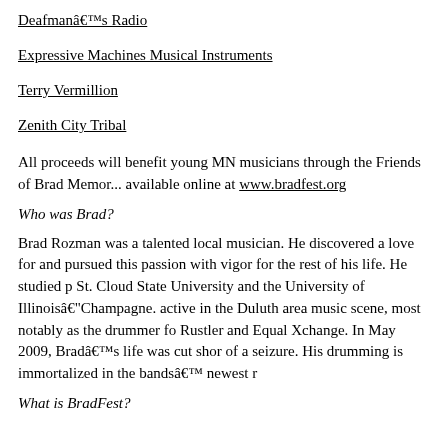Deafman’s Radio
Expressive Machines Musical Instruments
Terry Vermillion
Zenith City Tribal
All proceeds will benefit young MN musicians through the Friends of Brad Memo... available online at www.bradfest.org
Who was Brad?
Brad Rozman was a talented local musician. He discovered a love for and pursued this passion with vigor for the rest of his life. He studied p St. Cloud State University and the University of Illinois–Champagne. active in the Duluth area music scene, most notably as the drummer fo Rustler and Equal Xchange. In May 2009, Brad’s life was cut shor of a seizure. His drumming is immortalized in the bands’ newest r
What is BradFest?